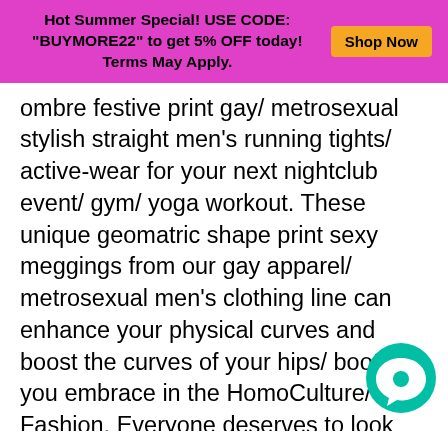Hot Summer Special! USE CODE: "BUYMORE22" to get 5% OFF today! Terms May Apply. Shop Now
ombre festive print gay/ metrosexual stylish straight men's running tights/ active-wear for your next nightclub event/ gym/ yoga workout. These unique geomatric shape print sexy meggings from our gay apparel/ metrosexual men's clothing line can enhance your physical curves and boost the curves of your hips/ booty if you embrace in the HomoCulture/ Gay Fashion. Everyone deserves to look their best and live fully regardless of his/ her sexual orientation. Be your best active self in these stylish lightweight sexy men's leggings du those cold and hot seasons! The super soft and stretchy material makes them the perfect